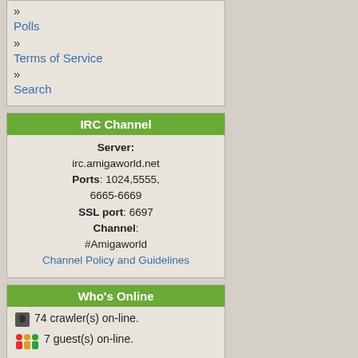» Polls
» Terms of Service
» Search
IRC Channel
Server: irc.amigaworld.net Ports: 1024,5555, 6665-6669 SSL port: 6697 Channel: #Amigaworld Channel Policy and Guidelines
Who's Online
74 crawler(s) on-line. 7 guest(s) on-line. 0 member(s) on-line.
You are an anonymous user. Register Now! my_pc_is_amiga: